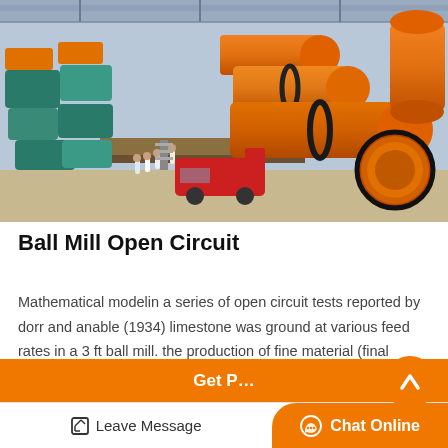[Figure (photo): Aerial/overhead view of a large industrial facility showing multiple large orange ball mill cylinders on a flatbed truck or platform, with teal-colored motor/drive units arranged on the left side, workers visible on the ground, and a red truck in the middle ground. Industrial warehouse structure visible in background.]
Ball Mill Open Circuit
Mathematical modelin a series of open circuit tests reported by dorr and anable (1934) limestone was ground at various feed rates in a 3 ft ball mill. the production of fine material (final product) incre…
Get P…
Leave Message
Chat Online